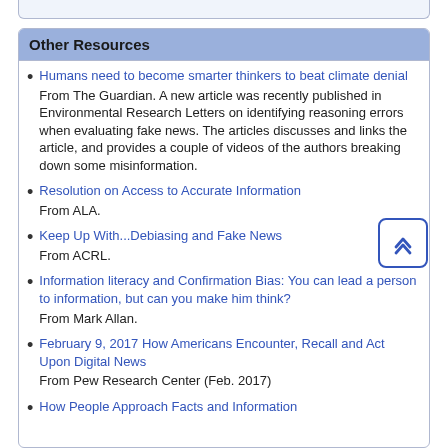Other Resources
Humans need to become smarter thinkers to beat climate denial
From The Guardian. A new article was recently published in Environmental Research Letters on identifying reasoning errors when evaluating fake news. The articles discusses and links the article, and provides a couple of videos of the authors breaking down some misinformation.
Resolution on Access to Accurate Information
From ALA.
Keep Up With...Debiasing and Fake News
From ACRL.
Information literacy and Confirmation Bias: You can lead a person to information, but can you make him think?
From Mark Allan.
February 9, 2017 How Americans Encounter, Recall and Act Upon Digital News
From Pew Research Center (Feb. 2017)
How People Approach Facts and Information